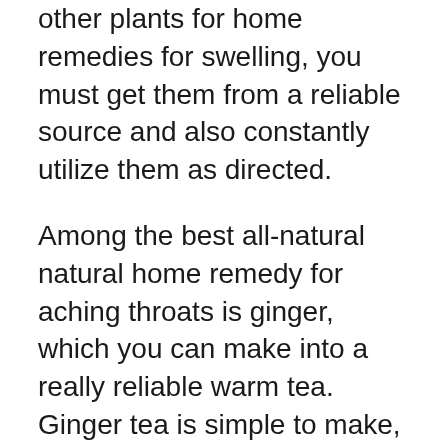other plants for home remedies for swelling, you must get them from a reliable source and also constantly utilize them as directed.
Among the best all-natural natural home remedy for aching throats is ginger, which you can make into a really reliable warm tea. Ginger tea is simple to make, even if you don't reside in the nation where ginger expands. All you require is fresh ginger origin, some sugar, warm water, and also a teaspoon of cinnamon powder. The even more you use the cinnamon powder, the sweeter and also hotter the tea will certainly end up being. This tea can be a powerful all-natural anti-inflammatory and also can be used on its own or as a tasty addition to any beverage.